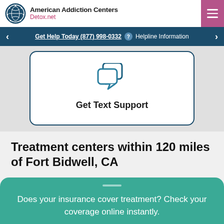American Addiction Centers Detox.net
Get Help Today (877) 998-0332 ? Helpline Information
[Figure (illustration): Two overlapping chat bubble icons in teal/dark blue]
Get Text Support
Treatment centers within 120 miles of Fort Bidwell, CA
Does your insurance cover treatment? Check your coverage online instantly.